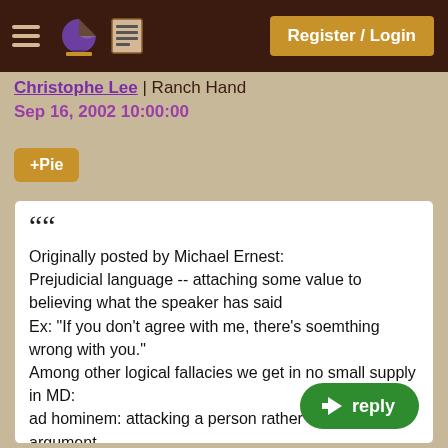Register / Login
Christophe Lee | Ranch Hand
Sep 16, 2002 10:00:00
+Pie
““
Originally posted by Michael Ernest:
Prejudicial language -- attaching some value to believing what the speaker has said
Ex: "If you don't agree with me, there's soemthing wrong with you."
Among other logical fallacies we get in no small supply in MD:
ad hominem: attacking a person rather than their argument.
Ex: "I think we all know what we can expect when Jason posts to a topic"
joint effect: two effects produce one cause, but it is argued that one effect was caused by the other.